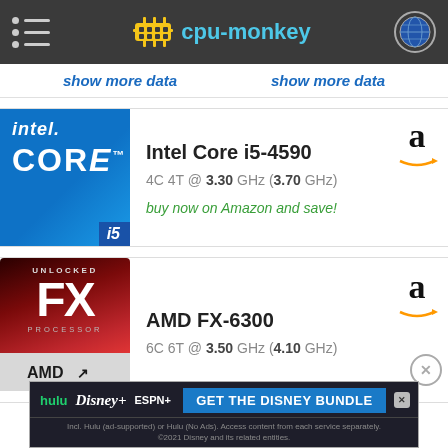cpu-monkey
show more data   show more data
[Figure (screenshot): Intel Core i5 logo — blue background with 'intel.' and 'CORE i5' text]
Intel Core i5-4590
4C 4T @ 3.30 GHz (3.70 GHz)
buy now on Amazon and save!
[Figure (screenshot): AMD FX Unlocked Processor logo — dark red background with FX text]
AMD FX-6300
6C 6T @ 3.50 GHz (4.10 GHz)
[Figure (screenshot): Disney Bundle advertisement banner — hulu, Disney+, ESPN+ logos with GET THE DISNEY BUNDLE CTA]